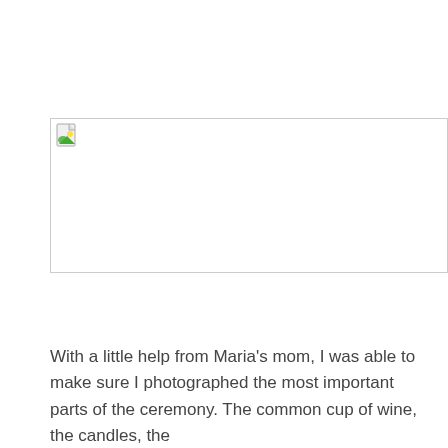[Figure (photo): Missing/broken image placeholder with broken image icon in top-left corner and a thin border rectangle]
With a little help from Maria's mom, I was able to make sure I photographed the most important parts of the ceremony. The common cup of wine, the candles, the